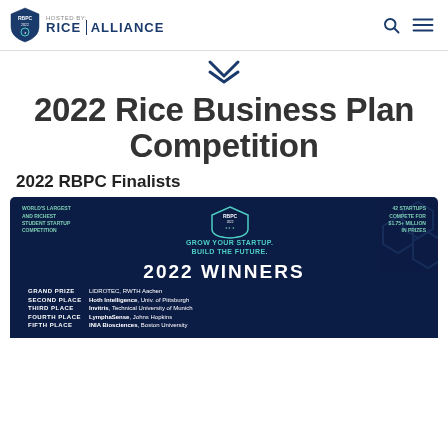HOSTED BY: RICE ALLIANCE
2022 Rice Business Plan Competition
2022 RBPC Finalists
[Figure (infographic): Dark navy banner showing 2022 Winners of RBPC: Grand Prize - LIDROTEC, RWTH Aachen; Second Place - Hoth Intelligence, Univ. of Pittsburgh; Third Place - Invitris, Technical University of Munich; Fourth Place - LymphaSense, Johns Hopkins; Fifth Place - INIA Biosciences, Boston University. Also shows: World's Largest and Richest Student Startup Competition; 42 Startups Compete for $1.75+ Million in Prizes; Grow Your Startup. Build the Future.]